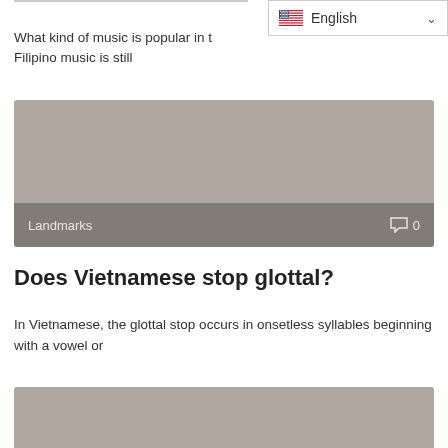[Figure (screenshot): English language selector dropdown button with US flag icon and chevron arrow]
What kind of music is popular in t... Filipino music is still
[Figure (photo): Gray image card showing Landmarks category with comment count of 0]
Does Vietnamese stop glottal?
In Vietnamese, the glottal stop occurs in onsetless syllables beginning with a vowel or
[Figure (photo): Gray image card at bottom of page, partially visible]